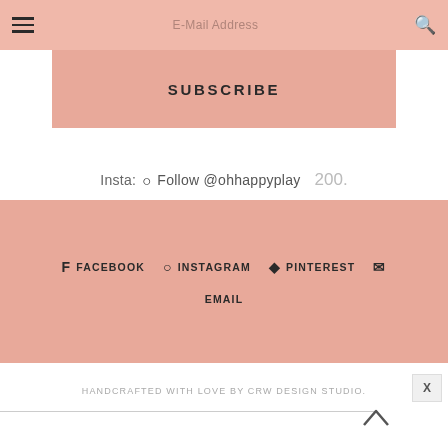E-Mail Address
SUBSCRIBE
Insta: Follow @ohhappyplay  200.
FACEBOOK  INSTAGRAM  PINTEREST  EMAIL
HANDCRAFTED WITH LOVE BY CRW DESIGN STUDIO.